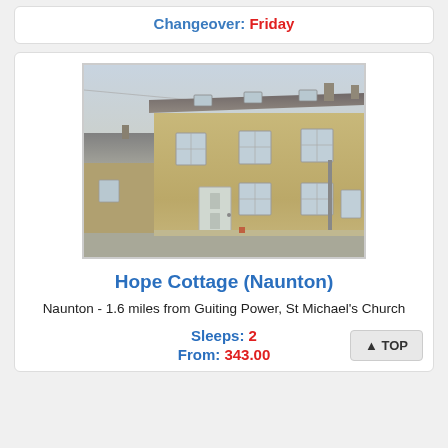Changeover: Friday
[Figure (photo): Stone cottage building - Hope Cottage in Naunton, a two-storey Cotswold stone terraced house with grey slate roof, white door, and multiple windows]
Hope Cottage (Naunton)
Naunton - 1.6 miles from Guiting Power, St Michael's Church
Sleeps: 2
From: 343.00